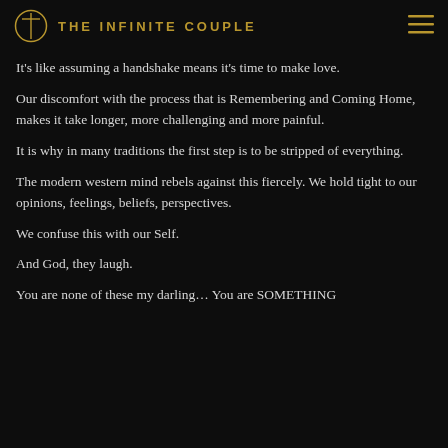THE INFINITE COUPLE
It's like assuming a handshake means it's time to make love.
Our discomfort with the process that is Remembering and Coming Home, makes it take longer, more challenging and more painful.
It is why in many traditions the first step is to be stripped of everything.
The modern western mind rebels against this fiercely. We hold tight to our opinions, feelings, beliefs, perspectives.
We confuse this with our Self.
And God, they laugh.
You are none of these my darling… You are SOMETHING